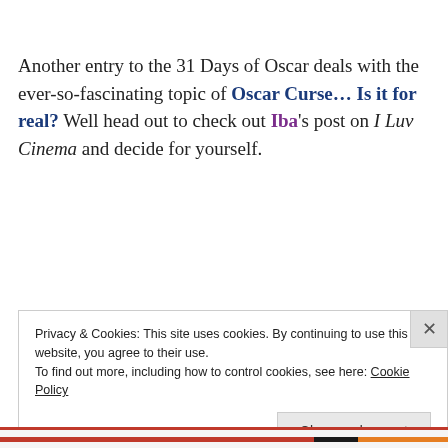Another entry to the 31 Days of Oscar deals with the ever-so-fascinating topic of Oscar Curse… Is it for real? Well head out to check out Iba's post on I Luv Cinema and decide for yourself.
Privacy & Cookies: This site uses cookies. By continuing to use this website, you agree to their use. To find out more, including how to control cookies, see here: Cookie Policy